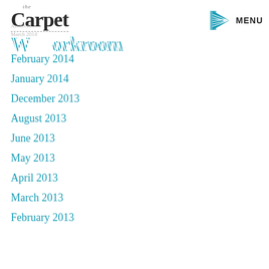[Figure (logo): The Carpet Workroom logo with striped teal text]
[Figure (logo): Menu icon with teal arrow/chevron graphic and MENU text]
Archives
March 2014
February 2014
January 2014
December 2013
August 2013
June 2013
May 2013
April 2013
March 2013
February 2013